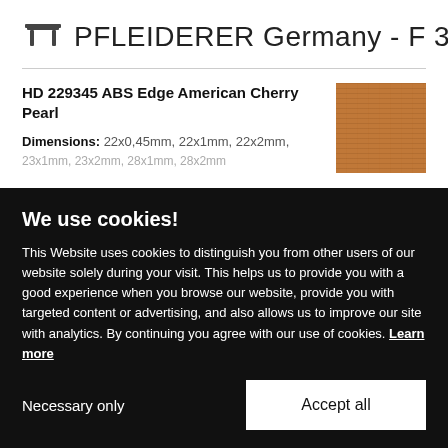PFLEIDERER Germany - F 35/10
HD 229345 ABS Edge American Cherry Pearl
Dimensions: 22x0,45mm, 22x1mm, 22x2mm, 23x1mm, 23x2mm, 28x1mm, 28x2mm
[Figure (photo): Wood texture swatch showing American Cherry Pearl finish in warm brown tones]
We use cookies!
This Website uses cookies to distinguish you from other users of our website solely during your visit. This helps us to provide you with a good experience when you browse our website, provide you with targeted content or advertising, and also allows us to improve our site with analytics. By continuing you agree with our use of cookies. Learn more
Necessary only
Accept all